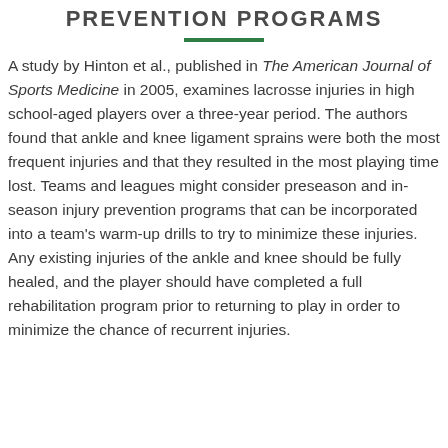PREVENTION PROGRAMS
A study by Hinton et al., published in The American Journal of Sports Medicine in 2005, examines lacrosse injuries in high school-aged players over a three-year period. The authors found that ankle and knee ligament sprains were both the most frequent injuries and that they resulted in the most playing time lost. Teams and leagues might consider preseason and in-season injury prevention programs that can be incorporated into a team’s warm-up drills to try to minimize these injuries. Any existing injuries of the ankle and knee should be fully healed, and the player should have completed a full rehabilitation program prior to returning to play in order to minimize the chance of recurrent injuries.